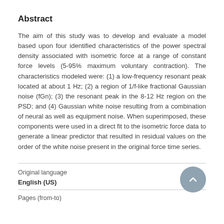Abstract
The aim of this study was to develop and evaluate a model based upon four identified characteristics of the power spectral density associated with isometric force at a range of constant force levels (5-95% maximum voluntary contraction). The characteristics modeled were: (1) a low-frequency resonant peak located at about 1 Hz; (2) a region of 1/f-like fractional Gaussian noise (fGn); (3) the resonant peak in the 8-12 Hz region on the PSD; and (4) Gaussian white noise resulting from a combination of neural as well as equipment noise. When superimposed, these components were used in a direct fit to the isometric force data to generate a linear predictor that resulted in residual values on the order of the white noise present in the original force time series.
Original language
English (US)
Pages (from-to)